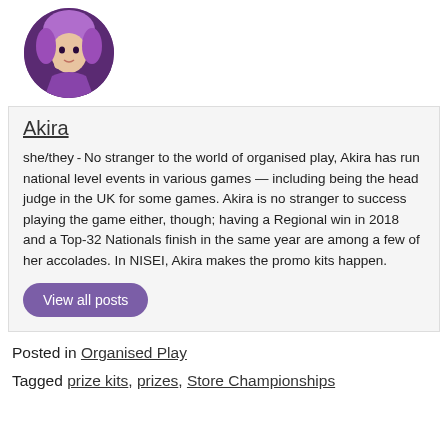[Figure (illustration): Circular avatar image of Akira, an illustrated character with purple hair wearing a purple outfit, against a dark background]
Akira
she/they - No stranger to the world of organised play, Akira has run national level events in various games — including being the head judge in the UK for some games. Akira is no stranger to success playing the game either, though; having a Regional win in 2018 and a Top-32 Nationals finish in the same year are among a few of her accolades. In NISEI, Akira makes the promo kits happen.
View all posts
Posted in Organised Play
Tagged prize kits, prizes, Store Championships